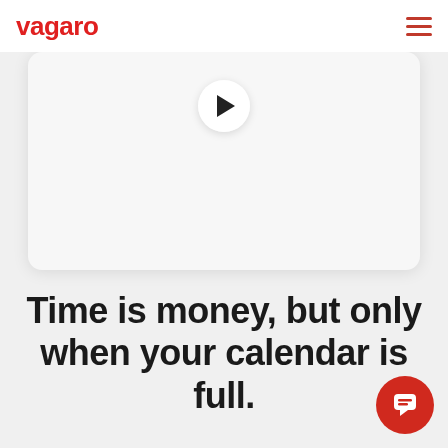vagaro
[Figure (screenshot): A video player card with a white rounded rectangle background and a circular play button in the upper center area]
Time is money, but only when your calendar is full.